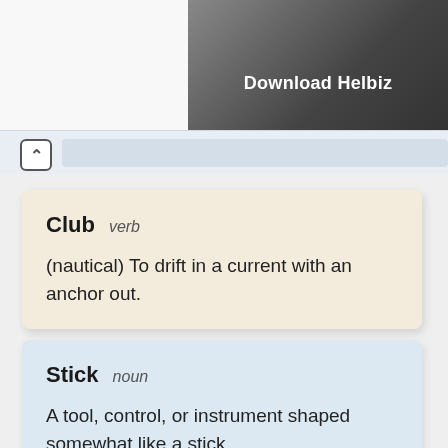[Figure (photo): Advertisement banner for 'Download Helbiz' app, showing an electric scooter in the upper right of the page, with white bold text 'Download Helbiz']
Club verb
(nautical) To drift in a current with an anchor out.
Stick noun
A tool, control, or instrument shaped somewhat like a stick.